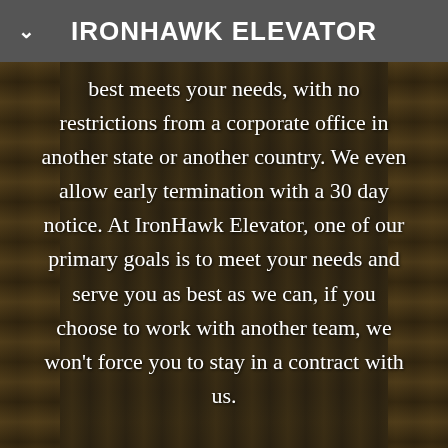IRONHAWK ELEVATOR
best meets your needs, with no restrictions from a corporate office in another state or another country. We even allow early termination with a 30 day notice. At IronHawk Elevator, one of our primary goals is to meet your needs and serve you as best as we can, if you choose to work with another team, we won't force you to stay in a contract with us.